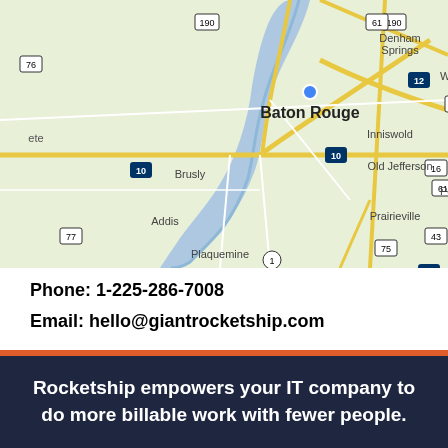[Figure (map): Google Maps view showing Baton Rouge, Louisiana area with surrounding cities including Denham Springs, Inniswold, Old Jefferson, Prairieville, Plaquemine, Addis, Brusly. Shows highways I-10, I-12, US-61, US-75, US-190, US-77, US-76, US-1, US-43, US-16. The Mississippi River is visible as a blue winding line.]
Phone: 1-225-286-7008
Email: hello@giantrocketship.com
Rocketship empowers your IT company to do more billable work with fewer people.